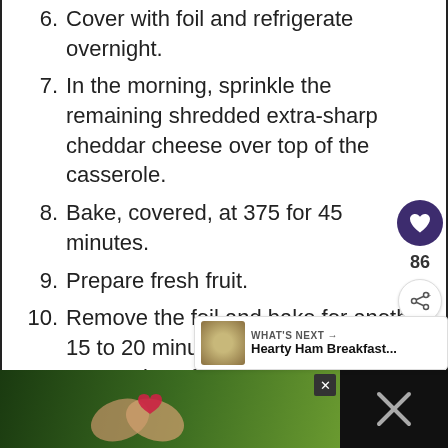6. Cover with foil and refrigerate overnight.
7. In the morning, sprinkle the remaining shredded extra-sharp cheddar cheese over top of the casserole.
8. Bake, covered, at 375 for 45 minutes.
9. Prepare fresh fruit.
10. Remove the foil and bake for another 15 to 20 minutes, or until the casserole puffs up and slightly browns on top.
11. Serve Ham and Broccoli Breakfast Casserole with fresh fruit.
[Figure (screenshot): UI sidebar with heart/favorite button (purple circle, heart icon), count 86, share button]
WHAT'S NEXT → Hearty Ham Breakfast...
[Figure (photo): Bottom advertisement banner: hands making heart shape on green background with text LOVE > HATE, with close button and dark right panel]